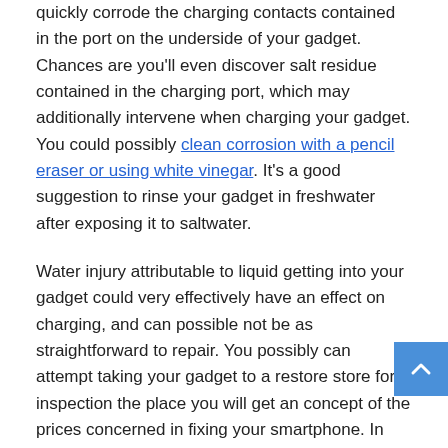quickly corrode the charging contacts contained in the port on the underside of your gadget. Chances are you'll even discover salt residue contained in the charging port, which may additionally intervene when charging your gadget. You could possibly clean corrosion with a pencil eraser or using white vinegar. It's a good suggestion to rinse your gadget in freshwater after exposing it to saltwater.
Water injury attributable to liquid getting into your gadget could very effectively have an effect on charging, and can possible not be as straightforward to repair. You possibly can attempt taking your gadget to a restore store for inspection the place you will get an concept of the prices concerned in fixing your smartphone. In lots of instances a brand new smartphone would be the more cost effective route.
Getting the Finest Charger